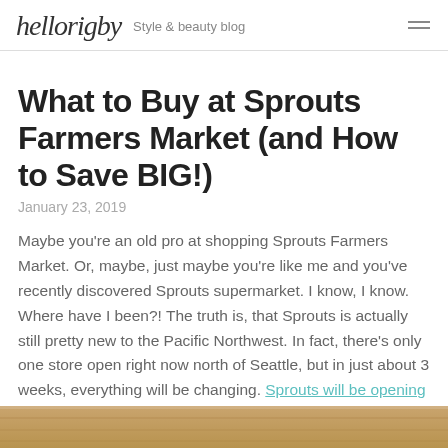hellorigby — Style & beauty blog
What to Buy at Sprouts Farmers Market (and How to Save BIG!)
January 23, 2019
Maybe you're an old pro at shopping Sprouts Farmers Market. Or, maybe, just maybe you're like me and you've recently discovered Sprouts supermarket. I know, I know. Where have I been?! The truth is, that Sprouts is actually still pretty new to the Pacific Northwest. In fact, there's only one store open right now north of Seattle, but in just about 3 weeks, everything will be changing. Sprouts will be opening up their second Washington location in Lynnwood on February 6th!
[Figure (photo): Top edge of a wooden surface or furniture, warm brown tones, bottom of page]